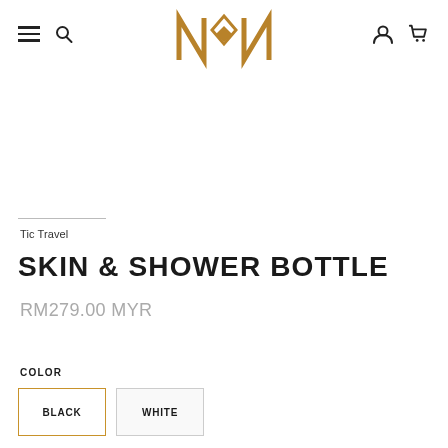[Figure (logo): NBN brand logo in gold/brown angular lettermark style]
Tic Travel
SKIN & SHOWER BOTTLE
RM279.00 MYR
COLOR
BLACK
WHITE